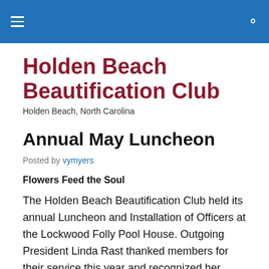Holden Beach Beautification Club
Holden Beach Beautification Club
Holden Beach, North Carolina
Annual May Luncheon
Posted by vymyers
Flowers Feed the Soul
The Holden Beach Beautification Club held its annual Luncheon and Installation of Officers at the Lockwood Folly Pool House. Outgoing President Linda Rast thanked members for their service this year and recognized her